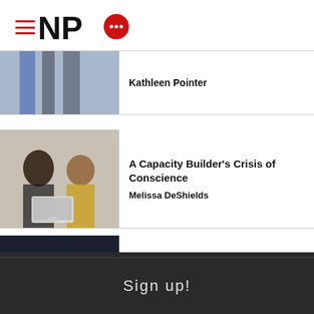[Figure (logo): NPQ logo with hamburger menu icon, letters NP and red speech bubble Q]
Kathleen Pointer
[Figure (photo): Two women sitting at a laptop, one with curly hair and one with glasses and a yellow top]
A Capacity Builder's Crisis of Conscience
Melissa DeShields
[Figure (photo): Dark ocean water with waves and an orange life preserver ring]
Funding Reproductive Justice and the Future of Abortion Access
We are using cookies to give you the best experience on our website.
Sign up!